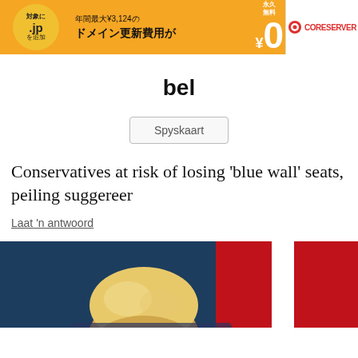[Figure (other): Advertisement banner for CORESERVER domain renewal promotion. Orange background with Japanese text: 対象に .jp を追加, 年間最大¥3,124の ドメイン更新費用が ¥0 (永久無料). CORESERVER logo on white right panel.]
bel
Spyskaart
Conservatives at risk of losing 'blue wall' seats, peiling suggereer
Laat 'n antwoord
[Figure (photo): Close-up photo of a blond person in front of a blue background and a red and white flag (appears to be UK Union Jack or similar). Only the top of the head with blond hair is visible at the bottom of the frame.]